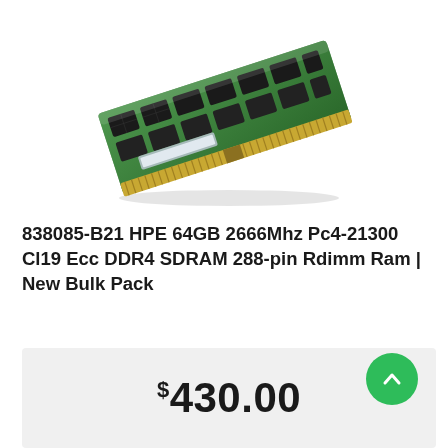[Figure (photo): A green DDR4 RAM stick (DIMM module) photographed at an angle against a white background. The module has multiple black memory chips on a green PCB with gold contacts at the bottom.]
838085-B21 HPE 64GB 2666Mhz Pc4-21300 Cl19 Ecc DDR4 SDRAM 288-pin Rdimm Ram | New Bulk Pack
$430.00